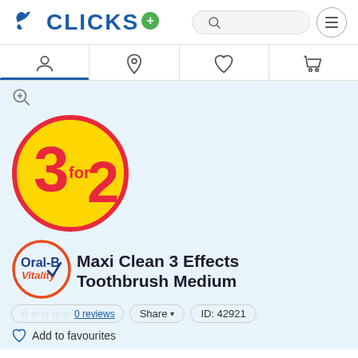[Figure (logo): Clicks pharmacy logo with blue bird and green plus sign]
[Figure (infographic): Navigation bar with account, location, heart/favourites, and shopping cart icons]
[Figure (infographic): 3 for 2 promotional badge - yellow circle with red text]
[Figure (logo): Oral-B Vitality brand logo circle in red/orange outline]
Maxi Clean 3 Effects Toothbrush Medium
0 reviews | Share | ID: 42921
Add to favourites
Oral-B Maxi Clean 3 Effects Toothbrush Medium has specially